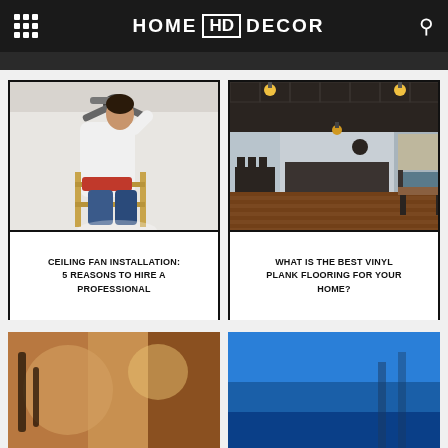HOME HD DECOR
[Figure (photo): Man on ladder installing ceiling fan]
CEILING FAN INSTALLATION: 5 REASONS TO HIRE A PROFESSIONAL
[Figure (photo): Interior of a restaurant/bar with wood flooring]
WHAT IS THE BEST VINYL PLANK FLOORING FOR YOUR HOME?
[Figure (photo): Partial image of items (leather goods)]
[Figure (photo): Partial image with blue background]